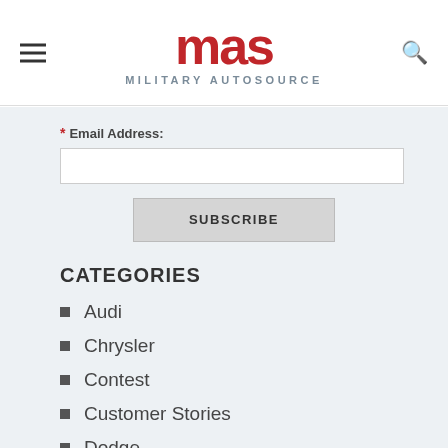[Figure (logo): Military AutoSource (MAS) logo - red bold text 'mas' with tagline 'MILITARY AUTOSOURCE' below in grey]
* Email Address:
SUBSCRIBE
CATEGORIES
Audi
Chrysler
Contest
Customer Stories
Dodge
Ford